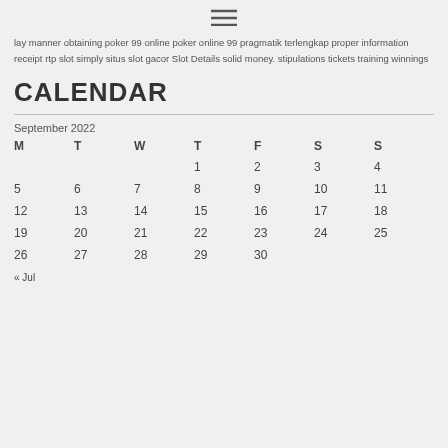[Figure (other): Hamburger menu icon (three horizontal lines)]
lay manner obtaining poker 99 online poker online 99 pragmatik terlengkap proper information receipt rtp slot simply situs slot gacor Slot Details solid money. stipulations tickets training winnings
CALENDAR
September 2022
| M | T | W | T | F | S | S |
| --- | --- | --- | --- | --- | --- | --- |
|  |  |  | 1 | 2 | 3 | 4 |
| 5 | 6 | 7 | 8 | 9 | 10 | 11 |
| 12 | 13 | 14 | 15 | 16 | 17 | 18 |
| 19 | 20 | 21 | 22 | 23 | 24 | 25 |
| 26 | 27 | 28 | 29 | 30 |  |  |
« Jul